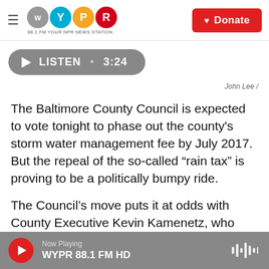[Figure (logo): WYPR 88.1 FM Your NPR News Station logo with hamburger menu and Donate button]
[Figure (other): Gray rounded Listen button with play icon and duration 3:24]
John Lee /
The Baltimore County Council is expected to vote tonight to phase out the county's storm water management fee by July 2017. But the repeal of the so-called “rain tax” is proving to be a politically bumpy ride.
The Council’s move puts it at odds with County Executive Kevin Kamenetz, who wants to keep the
[Figure (other): Bottom audio player bar: Now Playing WYPR 88.1 FM HD with red play button and waveform icon]